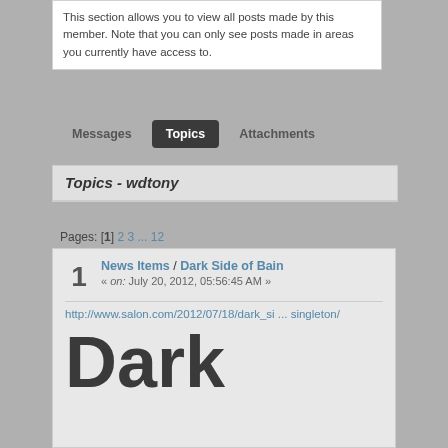This section allows you to view all posts made by this member. Note that you can only see posts made in areas you currently have access to.
Messages | Topics | Attachments
Topics - wdtony
Pages: [1] 2 3 ... 12
1 News Items / Dark Side of Bain « on: July 20, 2012, 05:56:45 AM »
http://www.salon.com/2012/07/18/dark_si ... singleton/
[Figure (screenshot): Large bold text reading 'Dark' in dark gray, part of an article image preview]